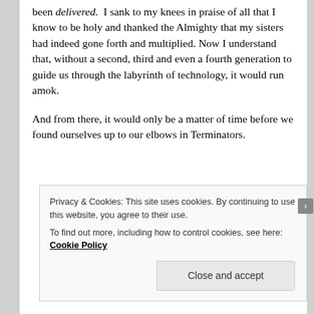been delivered. I sank to my knees in praise of all that I know to be holy and thanked the Almighty that my sisters had indeed gone forth and multiplied. Now I understand that, without a second, third and even a fourth generation to guide us through the labyrinth of technology, it would run amok.

And from there, it would only be a matter of time before we found ourselves up to our elbows in Terminators.
Privacy & Cookies: This site uses cookies. By continuing to use this website, you agree to their use.
To find out more, including how to control cookies, see here: Cookie Policy